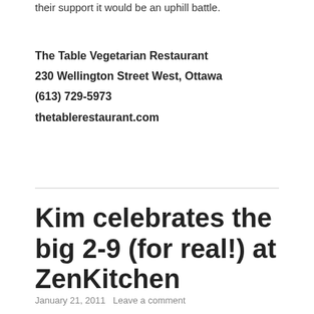their support it would be an uphill battle.
The Table Vegetarian Restaurant
230 Wellington Street West, Ottawa
(613) 729-5973
thetablerestaurant.com
Kim celebrates the big 2-9 (for real!) at ZenKitchen
January 21, 2011   Leave a comment